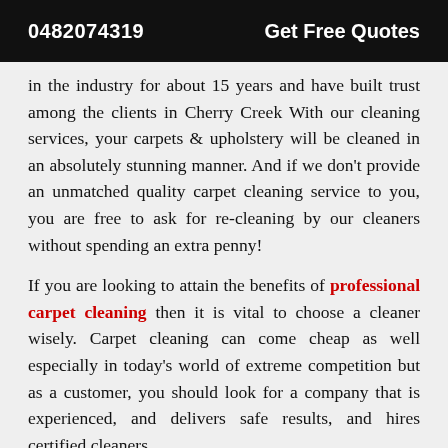0482074319   Get Free Quotes
in the industry for about 15 years and have built trust among the clients in Cherry Creek With our cleaning services, your carpets & upholstery will be cleaned in an absolutely stunning manner. And if we don't provide an unmatched quality carpet cleaning service to you, you are free to ask for re-cleaning by our cleaners without spending an extra penny!
If you are looking to attain the benefits of professional carpet cleaning then it is vital to choose a cleaner wisely. Carpet cleaning can come cheap as well especially in today's world of extreme competition but as a customer, you should look for a company that is experienced, and delivers safe results, and hires certified cleaners.